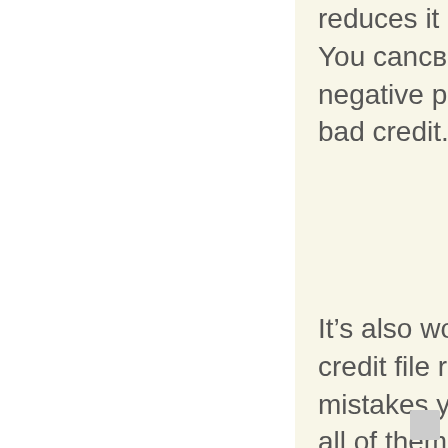reduces it by a collection quantity. You can't afford these negative points if you already have bad credit.
It's also worthwhile to test your credit file really and fix any mistakes you notice by contesting all of them with your credit agencies. Most of the time, credit agencies will fix mistakes if you place up an adequate amount of a battle, regardless if they don't uncover evidence that